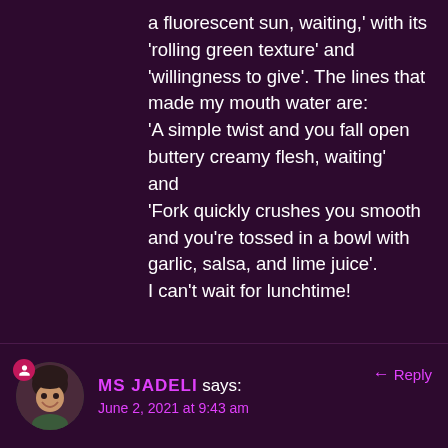a fluorescent sun, waiting,' with its 'rolling green texture' and 'willingness to give'. The lines that made my mouth water are: 'A simple twist and you fall open buttery creamy flesh, waiting' and 'Fork quickly crushes you smooth and you're tossed in a bowl with garlic, salsa, and lime juice'. I can't wait for lunchtime!
★ Liked by 2 people
MS JADELI says: Reply
June 2, 2021 at 9:43 am